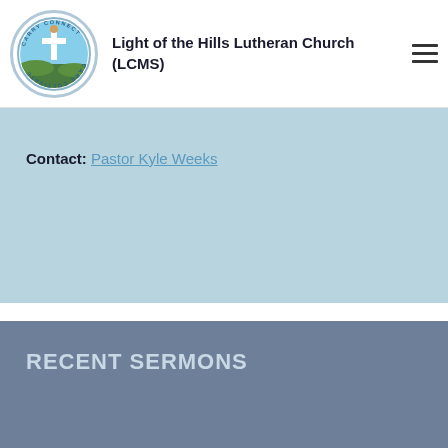Light of the Hills Lutheran Church (LCMS)
Contact: Pastor Kyle Weeks
RECENT SERMONS